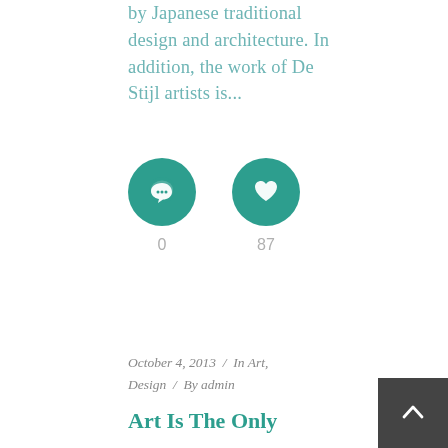by Japanese traditional design and architecture. In addition, the work of De Stijl artists is...
[Figure (infographic): Two teal circular icons: a comment bubble icon with count 0, and a heart/like icon with count 87]
October 4, 2013 / In Art, Design / By admin
Art Is The Only